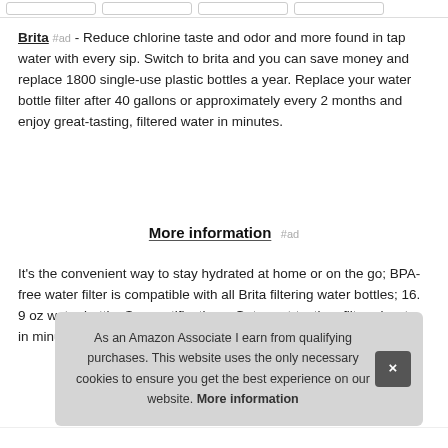Brita #ad - Reduce chlorine taste and odor and more found in tap water with every sip. Switch to brita and you can save money and replace 1800 single-use plastic bottles a year. Replace your water bottle filter after 40 gallons or approximately every 2 months and enjoy great-tasting, filtered water in minutes.
More information #ad
It's the convenient way to stay hydrated at home or on the go; BPA-free water filter is compatible with all Brita filtering water bottles; 16. 9 oz water bottle; See certifications. Get great-tasting, filtered water in minutes.
As an Amazon Associate I earn from qualifying purchases. This website uses the only necessary cookies to ensure you get the best experience on our website. More information